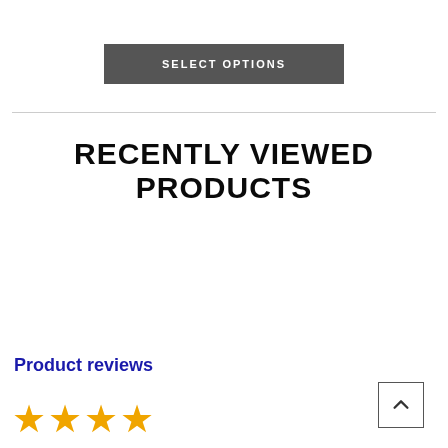SELECT OPTIONS
RECENTLY VIEWED PRODUCTS
Product reviews
[Figure (other): Four gold star icons representing a product rating]
[Figure (other): Back to top button with upward chevron arrow in a square border]